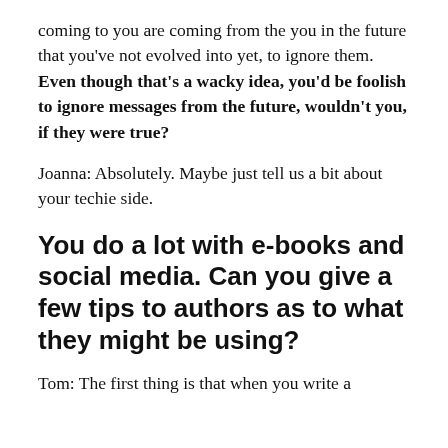coming to you are coming from the you in the future that you've not evolved into yet, to ignore them. Even though that's a wacky idea, you'd be foolish to ignore messages from the future, wouldn't you, if they were true?
Joanna: Absolutely. Maybe just tell us a bit about your techie side.
You do a lot with e-books and social media. Can you give a few tips to authors as to what they might be using?
Tom: The first thing is that when you write a